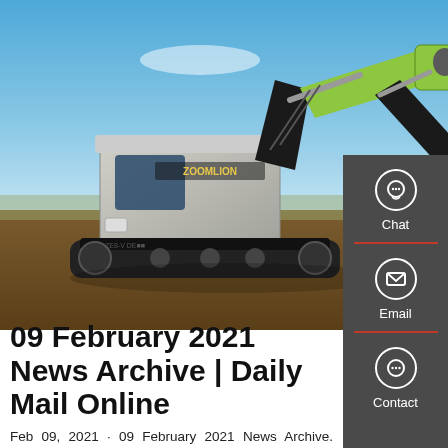[Figure (photo): A Zoomlion excavator (black and yellow-green) working on a construction/earthmoving site with blue sky background. Model number visible on side of machine.]
09 February 2021 News Archive | Daily Mail Online
Feb 09, 2021 · 09 February 2021 News Archive. Home > ; 2021 > ; February Tuesday 09 February